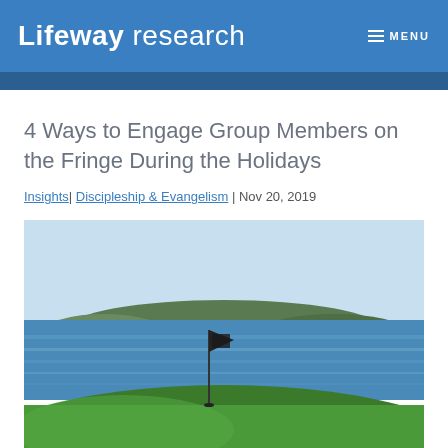Lifeway research  MENU
4 Ways to Engage Group Members on the Fringe During the Holidays
Insights| Discipleship & Evangelism | Nov 20, 2019
[Figure (photo): Golf course green with a flag near the ocean, blue water and green hills in the background under a light blue sky.]